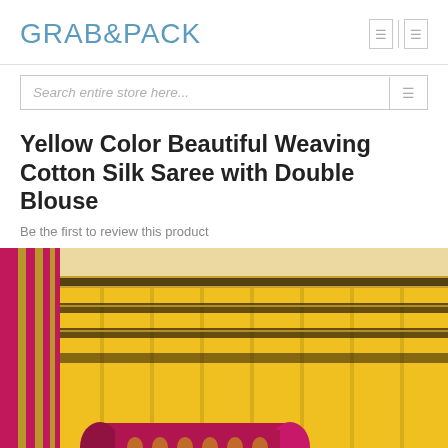GRAB&PACK
Search entire store here...
Yellow Color Beautiful Weaving Cotton Silk Saree with Double Blouse
Be the first to review this product
[Figure (photo): Yellow cotton silk saree with magenta/pink border featuring gold woven stripes, neatly folded and displayed flat. A rolled magenta blouse piece with gold floral pattern is placed in the foreground on a white surface.]